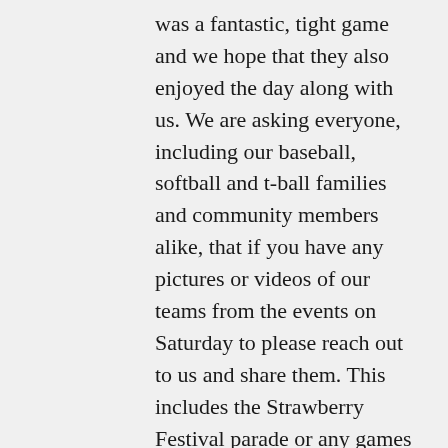was a fantastic, tight game and we hope that they also enjoyed the day along with us. We are asking everyone, including our baseball, softball and t-ball families and community members alike, that if you have any pictures or videos of our teams from the events on Saturday to please reach out to us and share them. This includes the Strawberry Festival parade or any games we played. We would like to put together a collage of those events. On a personal note, I'd like to thank my team at Indian Pride Park for a job well done. A lot of what we do goes unseen to the world, and many times, it goes without praise or thanks. But every day we are making strides to make this the best place to be in the spring. The work we do will never be complete, and we will continue to make